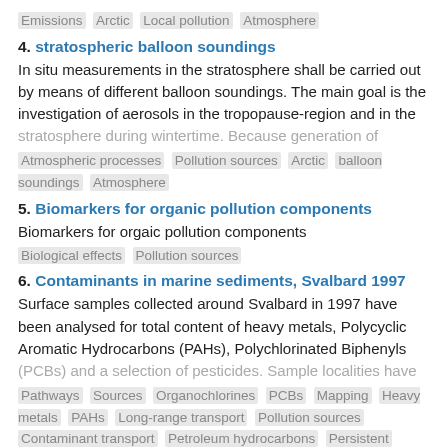Emissions  Arctic  Local pollution  Atmosphere
4. stratospheric balloon soundings
In situ measurements in the stratosphere shall be carried out by means of different balloon soundings. The main goal is the investigation of aerosols in the tropopause-region and in the stratosphere during wintertime. Because generation of
Atmospheric processes  Pollution sources  Arctic  balloon soundings  Atmosphere
5. Biomarkers for organic pollution components
Biomarkers for orgaic pollution components
Biological effects  Pollution sources
6. Contaminants in marine sediments, Svalbard 1997
Surface samples collected around Svalbard in 1997 have been analysed for total content of heavy metals, Polycyclic Aromatic Hydrocarbons (PAHs), Polychlorinated Biphenyls (PCBs) and a selection of pesticides. Sample localities have
Pathways  Sources  Organochlorines  PCBs  Mapping  Heavy metals  PAHs  Long-range transport  Pollution sources  Contaminant transport  Petroleum hydrocarbons  Persistent organic pollutants (POPs)  Local pollution  Sediment